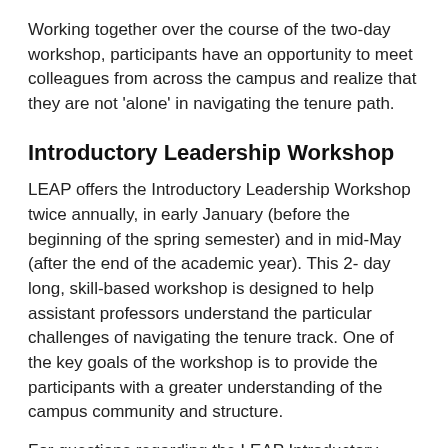Working together over the course of the two-day workshop, participants have an opportunity to meet colleagues from across the campus and realize that they are not 'alone' in navigating the tenure path.
Introductory Leadership Workshop
LEAP offers the Introductory Leadership Workshop twice annually, in early January (before the beginning of the spring semester) and in mid-May (after the end of the academic year). This 2- day long, skill-based workshop is designed to help assistant professors understand the particular challenges of navigating the tenure track. One of the key goals of the workshop is to provide the participants with a greater understanding of the campus community and structure.
For questions regarding the LEAP Introductory Leadership Workshop please contact: Leilani Arthurs, Faculty Fellow,